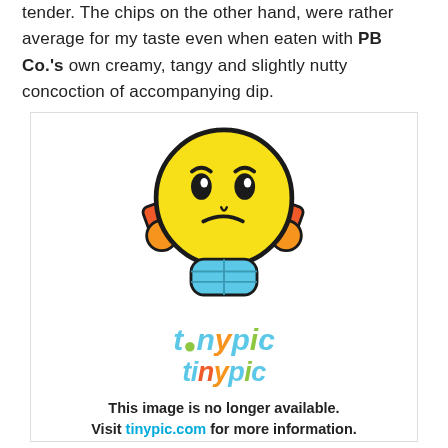tender. The chips on the other hand, were rather average for my taste even when eaten with PB Co.'s own creamy, tangy and slightly nutty concoction of accompanying dip.
[Figure (illustration): Tinypic placeholder image showing a frowning cartoon emoji with orange ear accessories and blue body, with the 'tinypic' logo below and text reading 'This image is no longer available. Visit tinypic.com for more information.']